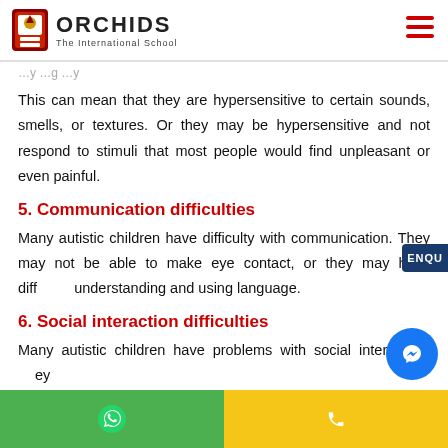ORCHIDS The International School
This can mean that they are hypersensitive to certain sounds, smells, or textures. Or they may be hypersensitive and not respond to stimuli that most people would find unpleasant or even painful.
5. Communication difficulties
Many autistic children have difficulty with communication. They may not be able to make eye contact, or they may have difficulty understanding and using language.
6. Social interaction difficulties
Many autistic children have problems with social interaction. They
WhatsApp | Phone